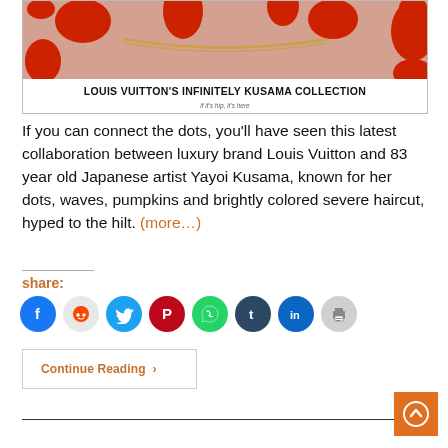[Figure (photo): Louis Vuitton Infinitely Kusama Collection promotional image showing red polka dots and gold chain necklace, with bold title overlay at bottom]
If you can connect the dots, you’ll have seen this latest collaboration between luxury brand Louis Vuitton and 83 year old Japanese artist Yayoi Kusama, known for her dots, waves, pumpkins and brightly colored severe haircut, hyped to the hilt. (more…)
share:
[Figure (infographic): Row of social share icon buttons: Facebook, Reddit, Twitter, Pinterest, WhatsApp, Tumblr, LinkedIn, Print]
Continue Reading ›